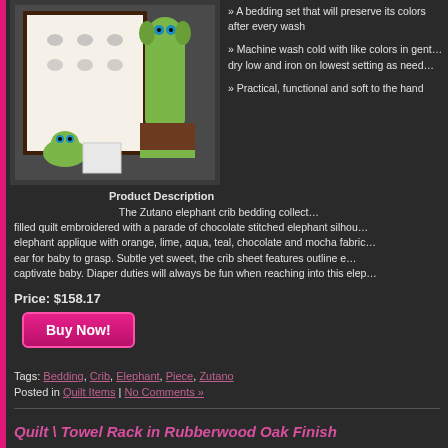[Figure (photo): Zutano elephant crib bedding set product image showing quilt, fitted crib sheet, and diaper stacker with elephant applique in orange, lime, aqua, teal, chocolate and mocha colors]
A bedding set that will preserve its colors after every wash
Machine wash cold with like colors in gentle cycle, tumble dry low and iron on lowest setting as needed
Practical, functional and soft to the hand
Product Description
The Zutano elephant crib bedding collection features a poly-filled quilt embroidered with a parade of chocolate stitched elephant silhouettes. A 3D elephant applique with orange, lime, aqua, teal, chocolate and mocha fabrics includes a floppy ear for baby to grasp. Subtle yet sweet, the crib sheet features outline elephants to captivate baby. Diaper duties will always be fun when reaching into this elep...
Price: $158.17
Buy Now!
Tags: Bedding, Crib, Elephant, Piece, Zutano
Posted in Quilt Items | No Comments »
Quilt \ Towel Rack in Rubberwood Oak Finish